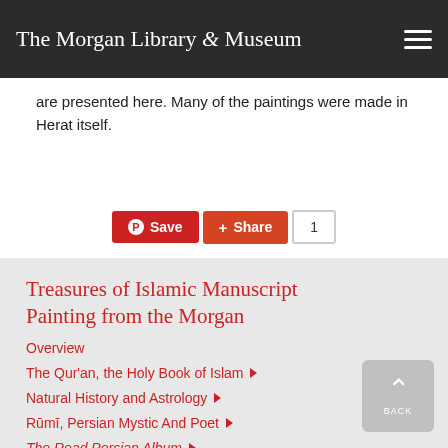The Morgan Library & Museum
are presented here. Many of the paintings were made in Herat itself.
Treasures of Islamic Manuscript Painting from the Morgan
Overview
The Qur'an, the Holy Book of Islam
Natural History and Astrology
Rūmī, Persian Mystic And Poet
The Read Persian Album